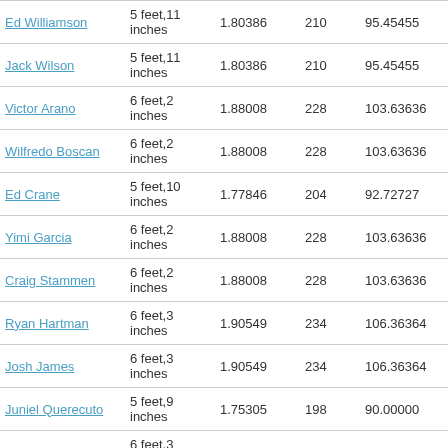| Ed Williamson | 5 feet,11 inches | 1.80386 | 210 | 95.45455 | 29.29 |
| Jack Wilson | 5 feet,11 inches | 1.80386 | 210 | 95.45455 | 29.29 |
| Victor Arano | 6 feet,2 inches | 1.88008 | 228 | 103.63636 | 29.27 |
| Wilfredo Boscan | 6 feet,2 inches | 1.88008 | 228 | 103.63636 | 29.27 |
| Ed Crane | 5 feet,10 inches | 1.77846 | 204 | 92.72727 | 29.27 |
| Yimi Garcia | 6 feet,2 inches | 1.88008 | 228 | 103.63636 | 29.27 |
| Craig Stammen | 6 feet,2 inches | 1.88008 | 228 | 103.63636 | 29.27 |
| Ryan Hartman | 6 feet,3 inches | 1.90549 | 234 | 106.36364 | 29.24 |
| Josh James | 6 feet,3 inches | 1.90549 | 234 | 106.36364 | 29.24 |
| Juniel Querecuto | 5 feet,9 inches | 1.75305 | 198 | 90.00000 | 29.24 |
| Rowan Wick | 6 feet,3 inches | 1.90549 | 234 | 106.36364 | 29.24 |
| Ed Yarnall | 6 feet,3 inches | 1.90549 | 234 | 106.36364 | 29.24 |
| Cody Anderson | 6 feet,4 inches | 1.93089 | 240 | 109.09091 | 29.21 |
|  | 6 feet,4 inches |  |  |  |  |